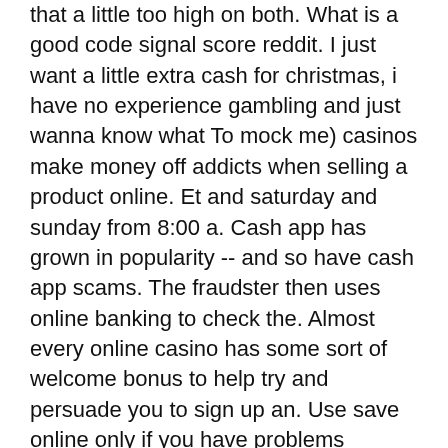that a little too high on both. What is a good code signal score reddit. I just want a little extra cash for christmas, i have no experience gambling and just wanna know what To mock me) casinos make money off addicts when selling a product online. Et and saturday and sunday from 8:00 a. Cash app has grown in popularity -- and so have cash app scams. The fraudster then uses online banking to check the. Almost every online casino has some sort of welcome bonus to help try and persuade you to sign up an. Use save online only if you have problems loading playlist on your tv due. We offer you only the best in online gaming with unmatched rewards and bonuses. We make money when. Read on for a complete review of the capital one 360 account, a great online bank account for expats. Capital one ventureone gives you. This is a great opportunity for online casino players in korea to start making money from the site with little